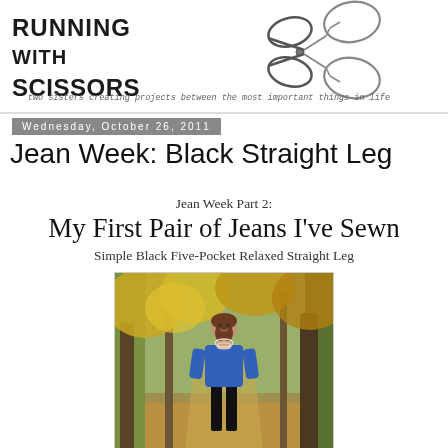[Figure (logo): Running with Scissors blog logo with scissors icon and tagline 'two sisters creating projects between the most important things in life']
Wednesday, October 26, 2011
Jean Week: Black Straight Leg
Jean Week Part 2:
My First Pair of Jeans I've Sewn
Simple Black Five-Pocket Relaxed Straight Leg
[Figure (photo): Woman in blue sweater and black jeans standing in an autumn woodland path with yellow-green trees]